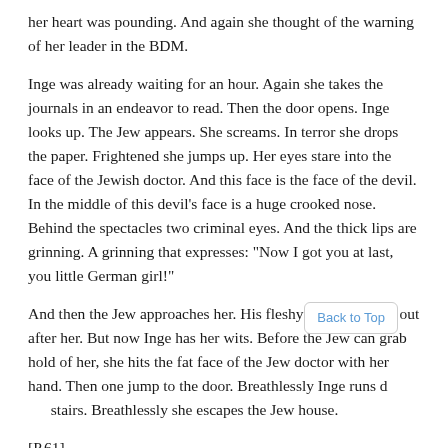her heart was pounding. And again she thought of the warning of her leader in the BDM.
Inge was already waiting for an hour. Again she takes the journals in an endeavor to read. Then the door opens. Inge looks up. The Jew appears. She screams. In terror she drops the paper. Frightened she jumps up. Her eyes stare into the face of the Jewish doctor. And this face is the face of the devil. In the middle of this devil’s face is a huge crooked nose. Behind the spectacles two criminal eyes. And the thick lips are grinning. A grinning that expresses: “Now I got you at last, you little German girl!”
And then the Jew approaches her. His fleshy fingers stretch out after her. But now Inge has her wits. Before the Jew can grab hold of her, she hits the fat face of the Jew doctor with her hand. Then one jump to the door. Breathlessly Inge runs down the stairs. Breathlessly she escapes the Jew house.
[P.61]